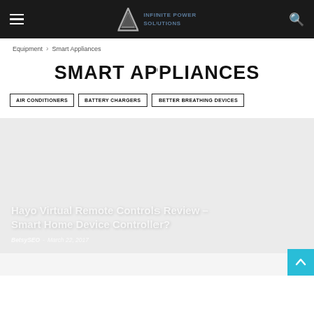Infinite Power Solutions
Equipment > Smart Appliances
SMART APPLIANCES
AIR CONDITIONERS
BATTERY CHARGERS
BETTER BREATHING DEVICES
Hayo Virtual Remote Controls Review – Smart Home Device Controller?
BetsySEO - March 22, 2017